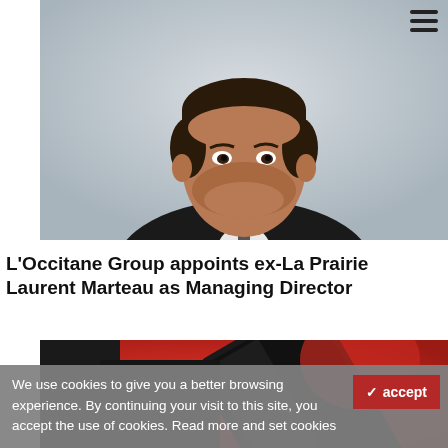[Figure (photo): Professional headshot of a middle-aged man in a dark suit against a light grey background — Laurent Marteau]
L'Occitane Group appoints ex-La Prairie Laurent Marteau as Managing Director
[Figure (photo): Close-up photo of a dark smartphone on a red background]
We use cookies to give you a better browsing experience. By continuing your visit to this site, you accept the use of cookies. Read more and set cookies